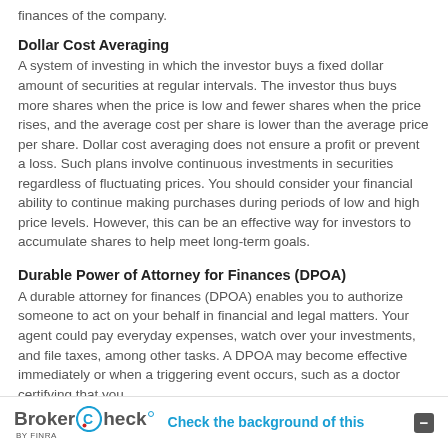finances of the company.
Dollar Cost Averaging
A system of investing in which the investor buys a fixed dollar amount of securities at regular intervals. The investor thus buys more shares when the price is low and fewer shares when the price rises, and the average cost per share is lower than the average price per share. Dollar cost averaging does not ensure a profit or prevent a loss. Such plans involve continuous investments in securities regardless of fluctuating prices. You should consider your financial ability to continue making purchases during periods of low and high price levels. However, this can be an effective way for investors to accumulate shares to help meet long-term goals.
Durable Power of Attorney for Finances (DPOA)
A durable attorney for finances (DPOA) enables you to authorize someone to act on your behalf in financial and legal matters. Your agent could pay everyday expenses, watch over your investments, and file taxes, among other tasks. A DPOA may become effective immediately or when a triggering event occurs, such as a doctor certifying that you
BrokerCheck by FINRA — Check the background of this